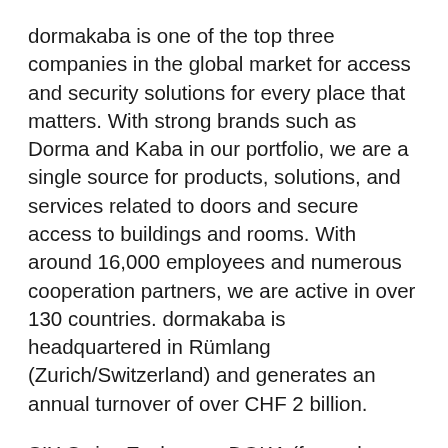dormakaba is one of the top three companies in the global market for access and security solutions for every place that matters. With strong brands such as Dorma and Kaba in our portfolio, we are a single source for products, solutions, and services related to doors and secure access to buildings and rooms. With around 16,000 employees and numerous cooperation partners, we are active in over 130 countries. dormakaba is headquartered in Rümlang (Zurich/Switzerland) and generates an annual turnover of over CHF 2 billion.
SIX Swiss Exchange: DOKA (formerly: KABN / KABNE) Further information at www.dormakaba.us.